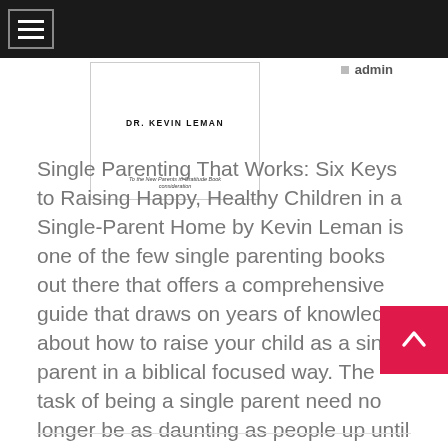admin
[Figure (illustration): Book cover showing DR. KEVIN LEMAN as author with small subtitle text at bottom]
Single Parenting That Works: Six Keys to Raising Happy, Healthy Children in a Single-Parent Home by Kevin Leman is one of the few single parenting books out there that offers a comprehensive guide that draws on years of knowledge about how to raise your child as a single parent in a biblical focused way. The task of being a single parent need no longer be as daunting as people up until now have come to expect it to be. In Single Parenting That Works: Six Keys to Raising Happy, Healthy Children in a Single-Parent Home you will be provided with insight into a variety of topics related to the theme of single parenting.